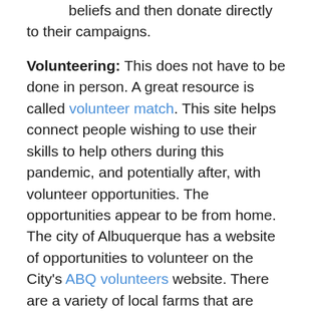beliefs and then donate directly to their campaigns.
Volunteering: This does not have to be done in person. A great resource is called volunteer match. This site helps connect people wishing to use their skills to help others during this pandemic, and potentially after, with volunteer opportunities. The opportunities appear to be from home. The city of Albuquerque has a website of opportunities to volunteer on the City's ABQ volunteers website. There are a variety of local farms that are looking for volunteers. So, if you want to get out of the house, and are able (depending on the restrictions in place at the time), you can always search for local farms looking for volunteers.
Protesting: Although gathering in groups is dangerous during this time of COVID-19, there are still ways to protest. There are calls for a general strike. This is a video